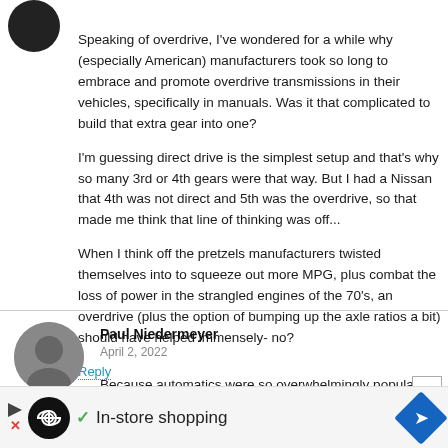[Figure (photo): Dark circular avatar image at top left]
Speaking of overdrive, I've wondered for a while why (especially American) manufacturers took so long to embrace and promote overdrive transmissions in their vehicles, specifically in manuals. Was it that complicated to build that extra gear into one?
I'm guessing direct drive is the simplest setup and that's why so many 3rd or 4th gears were that way. But I had a Nissan that 4th was not direct and 5th was the overdrive, so that made me think that line of thinking was off...
When I think off the pretzels manufacturers twisted themselves into to squeeze out more MPG, plus combat the loss of power in the strangled engines of the 70's, an overdrive (plus the option of bumping up the axle ratios a bit) should have helped immensely- no?
Reply
[Figure (photo): Profile avatar photo of Paul Niedermeyer]
Paul Niedermeyer
April 2, 2022
Because automatics were so overwhelmingly popular, there was little or no incentive to invest in developing and producing new manual transmissions. There were just a handful of four speed transmissions designed in the mid-50s and early 60s, and they were oriented to drag racers and others interested in maximum performance. These folks just didn't care enough about another gear...
[Figure (infographic): Advertisement banner: In-store shopping with play button, infinity logo circle, checkmark, navigation diamond icon]